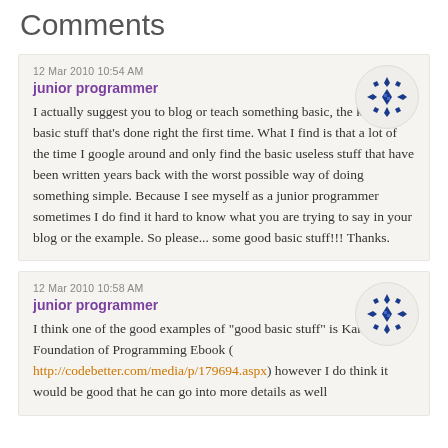Comments
12 Mar 2010 10:54 AM
junior programmer
I actually suggest you to blog or teach something basic, the kind of basic stuff that's done right the first time. What I find is that a lot of the time I google around and only find the basic useless stuff that have been written years back with the worst possible way of doing something simple. Because I see myself as a junior programmer sometimes I do find it hard to know what you are trying to say in your blog or the example. So please... some good basic stuff!!! Thanks.
12 Mar 2010 10:58 AM
junior programmer
I think one of the good examples of "good basic stuff" is Karl's Foundation of Programming Ebook ( http://codebetter.com/media/p/179694.aspx) however I do think it would be good that he can go into more details as well